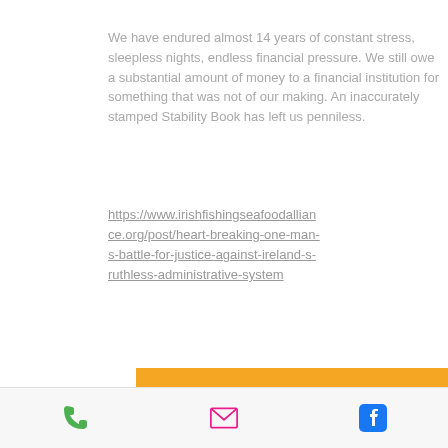We have endured almost 14 years of constant stress, sleepless nights, endless financial pressure. We still owe a substantial amount of money to a financial institution for something that was not of our making. An inaccurately stamped Stability Book has left us penniless.
https://www.irishfishingseafoodalliance.org/post/heart-breaking-one-man-s-battle-for-justice-against-ireland-s-ruthless-administrative-system
[Figure (other): Orange button with white bold text reading 'Sign the Petition']
cjgaffney3@gmail.com
[Figure (other): Footer bar with phone icon (green), email/envelope icon (pink/red), and Facebook icon (blue)]